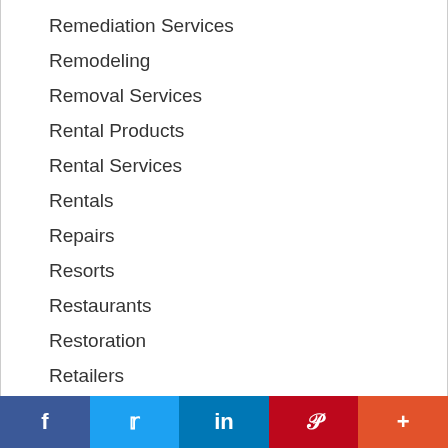Remediation Services
Remodeling
Removal Services
Rental Products
Rental Services
Rentals
Repairs
Resorts
Restaurants
Restoration
Retailers
Retailers - Local
Retailers - National
Retirement